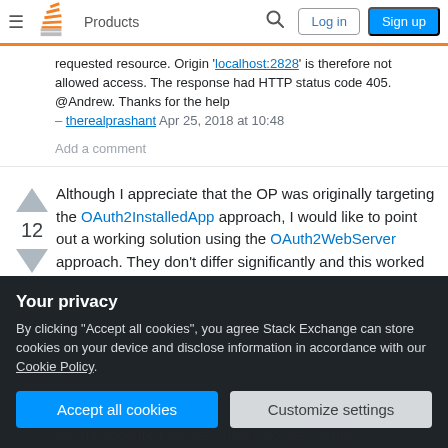Products | Log in | Sign up
requested resource. Origin 'localhost:2828' is therefore not allowed access. The response had HTTP status code 405. @Andrew. Thanks for the help – therealprashant Apr 25, 2018 at 10:48
Add a comment
Although I appreciate that the OP was originally targeting the OAuth2InstalledApp approach, I would like to point out a working solution using the OAuth2WebServer approach. They don't differ significantly and this worked for me. I have found
Your privacy
By clicking "Accept all cookies", you agree Stack Exchange can store cookies on your device and disclose information in accordance with our Cookie Policy.
Accept all cookies   Customize settings
As the accepted answer states, to get OAuth